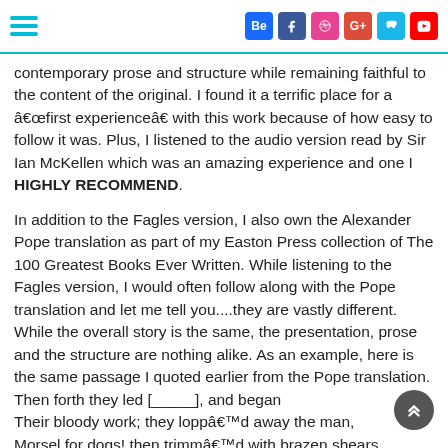Social media icons: Behance, Facebook, Dribbble, Google+, Vimeo, YouTube. Hamburger menu icon.
contemporary prose and structure while remaining faithful to the content of the original. I found it a terrific place for a “first experience” with this work because of how easy to follow it was. Plus, I listened to the audio version read by Sir Ian McKellen which was an amazing experience and one I HIGHLY RECOMMEND.
In addition to the Fagles version, I also own the Alexander Pope translation as part of my Easton Press collection of The 100 Greatest Books Ever Written. While listening to the Fagles version, I would often follow along with the Pope translation and let me tell you....they are vastly different. While the overall story is the same, the presentation, prose and the structure are nothing alike. As an example, here is the same passage I quoted earlier from the Pope translation. Then forth they led [———], and began
Their bloody work; they lopp’d away the man,
Morsel for dogs! then trimm’d with brazen shears
The wretch, and shorten’d of his nose and ears;
His hands and feet last felt the cruel steel;